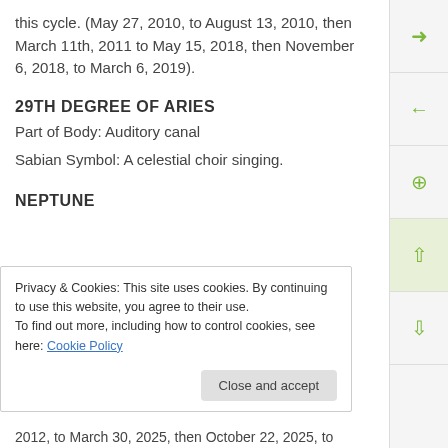this cycle. (May 27, 2010, to August 13, 2010, then March 11th, 2011 to May 15, 2018, then November 6, 2018, to March 6, 2019).
29TH DEGREE OF ARIES
Part of Body: Auditory canal
Sabian Symbol: A celestial choir singing.
NEPTUNE
Privacy & Cookies: This site uses cookies. By continuing to use this website, you agree to their use.
To find out more, including how to control cookies, see here: Cookie Policy
2012, to March 30, 2025, then October 22, 2025, to